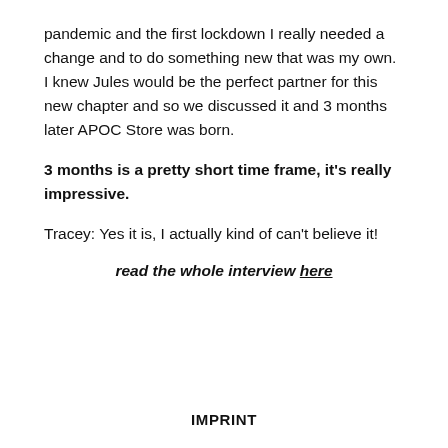pandemic and the first lockdown I really needed a change and to do something new that was my own. I knew Jules would be the perfect partner for this new chapter and so we discussed it and 3 months later APOC Store was born.
3 months is a pretty short time frame, it's really impressive.
Tracey: Yes it is, I actually kind of can't believe it!
read the whole interview here
IMPRINT